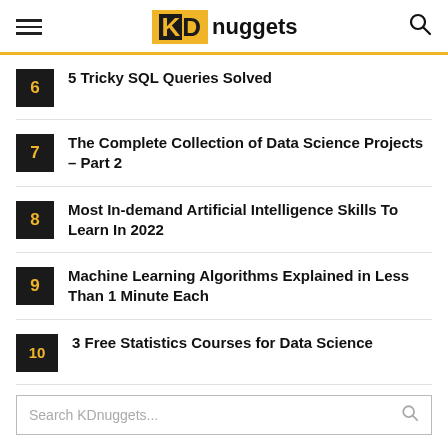KDnuggets
6 – 5 Tricky SQL Queries Solved
7 – The Complete Collection of Data Science Projects – Part 2
8 – Most In-demand Artificial Intelligence Skills To Learn In 2022
9 – Machine Learning Algorithms Explained in Less Than 1 Minute Each
10 – 3 Free Statistics Courses for Data Science
Search KDnuggets...